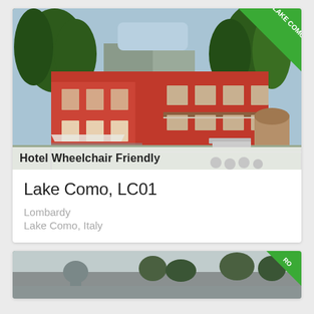[Figure (photo): Red Italian hotel building with balconies, trees in background, RISTORANTE sign on facade, waterfront setting with metal railings and tires. Badge in top-right corner reads LAKE COMO in green diagonal ribbon.]
Hotel Wheelchair Friendly
Lake Como, LC01
Lombardy
Lake Como, Italy
[Figure (photo): Partial view of a second listing card showing a panoramic cityscape/waterfront photo with a green diagonal badge in the top-right corner partially visible reading RO...]